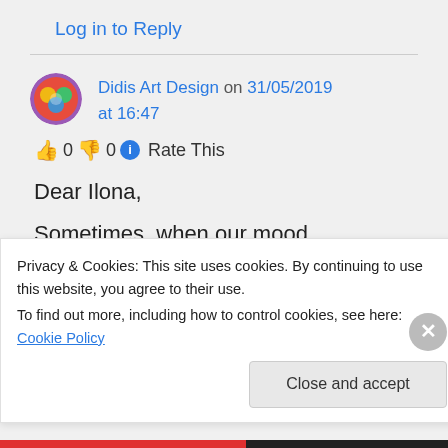Log in to Reply
Didis Art Design on 31/05/2019 at 16:47
👍 0 👎 0 ℹ Rate This
Dear Ilona,
Sometimes, when our mood is changing, we feel down
Privacy & Cookies: This site uses cookies. By continuing to use this website, you agree to their use.
To find out more, including how to control cookies, see here: Cookie Policy
Close and accept